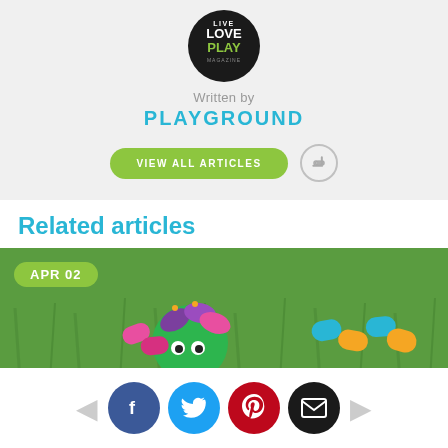[Figure (logo): Live Love Play Magazine circular logo, black background with white and green text]
Written by
PLAYGROUND
VIEW ALL ARTICLES
Related articles
[Figure (photo): Colorful paper craft caterpillar/bug made from paper circles and loops on green grass background, with date badge APR 02]